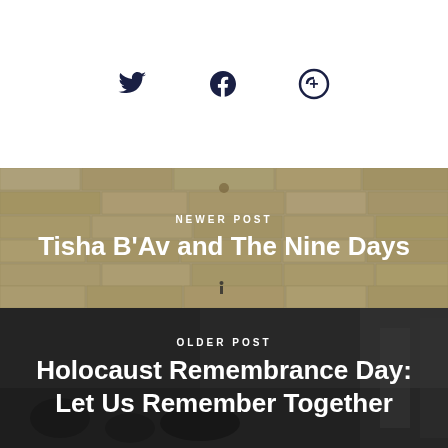[Figure (illustration): Social media icons: Twitter bird, Facebook f, and Google+ circle with plus sign, displayed in dark navy color on white background]
[Figure (photo): Background photo of a stone wall (likely the Western Wall in Jerusalem) with a tiny figure visible, overlaid with text 'NEWER POST' and 'Tisha B'Av and The Nine Days']
NEWER POST
Tisha B'Av and The Nine Days
[Figure (photo): Dark grayscale background photo for older post about Holocaust Remembrance Day, overlaid with text 'OLDER POST' and 'Holocaust Remembrance Day: Let Us Remember Together']
OLDER POST
Holocaust Remembrance Day: Let Us Remember Together